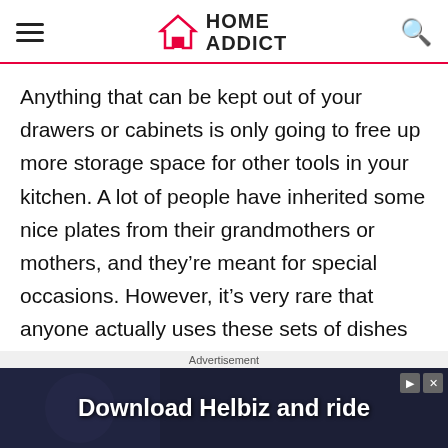HOME ADDICT
Anything that can be kept out of your drawers or cabinets is only going to free up more storage space for other tools in your kitchen. A lot of people have inherited some nice plates from their grandmothers or mothers, and they're meant for special occasions. However, it's very rare that anyone actually uses these sets of dishes on a daily
[Figure (screenshot): Advertisement banner: Download Helbiz and ride]